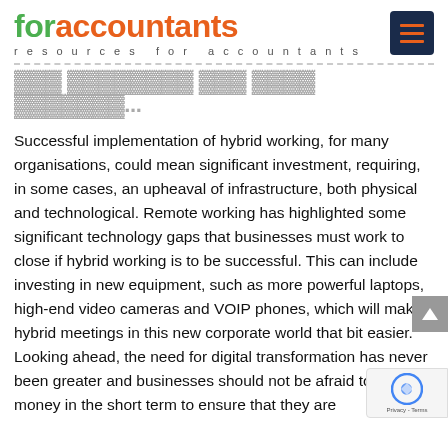foraccountants - resources for accountants
Successful implementation of hybrid working, for many organisations, could mean significant investment, requiring, in some cases, an upheaval of infrastructure, both physical and technological. Remote working has highlighted some significant technology gaps that businesses must work to close if hybrid working is to be successful. This can include investing in new equipment, such as more powerful laptops, high-end video cameras and VOIP phones, which will make hybrid meetings in this new corporate world that bit easier. Looking ahead, the need for digital transformation has never been greater and businesses should not be afraid to spend money in the short term to ensure that they are